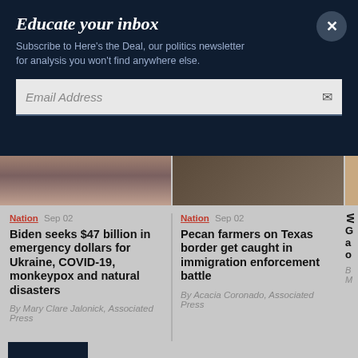Educate your inbox
Subscribe to Here's the Deal, our politics newsletter for analysis you won't find anywhere else.
Email Address
[Figure (screenshot): Article image left: person in suit, reddish background]
[Figure (screenshot): Article image right: dark background with scattered leaves]
Nation Sep 02
Biden seeks $47 billion in emergency dollars for Ukraine, COVID-19, monkeypox and natural disasters
By Mary Clare Jalonick, Associated Press
Nation Sep 02
Pecan farmers on Texas border get caught in immigration enforcement battle
By Acacia Coronado, Associated Press